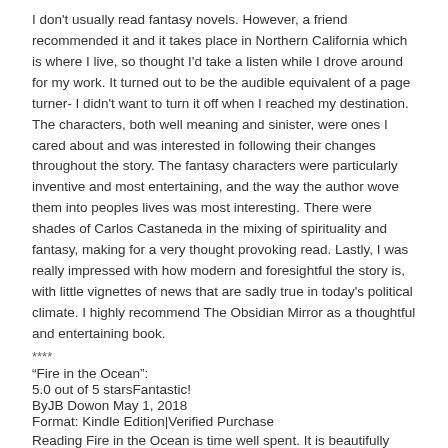I don't usually read fantasy novels. However, a friend recommended it and it takes place in Northern California which is where I live, so thought I'd take a listen while I drove around for my work. It turned out to be the audible equivalent of a page turner- I didn't want to turn it off when I reached my destination. The characters, both well meaning and sinister, were ones I cared about and was interested in following their changes throughout the story. The fantasy characters were particularly inventive and most entertaining, and the way the author wove them into peoples lives was most interesting. There were shades of Carlos Castaneda in the mixing of spirituality and fantasy, making for a very thought provoking read. Lastly, I was really impressed with how modern and foresightful the story is, with little vignettes of news that are sadly true in today's political climate. I highly recommend The Obsidian Mirror as a thoughtful and entertaining book.
****
“Fire in the Ocean”:
5.0 out of 5 starsFantastic!
ByJB Dowon May 1, 2018
Format: Kindle Edition|Verified Purchase
Reading Fire in the Ocean is time well spent. It is beautifully written,